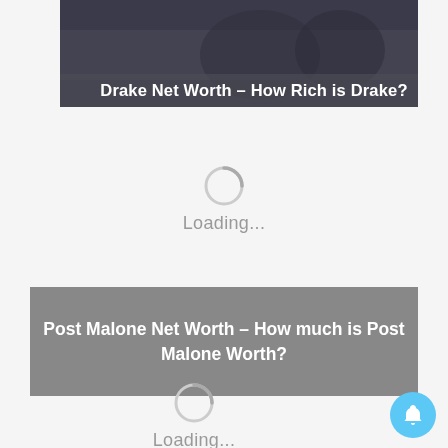[Figure (screenshot): Screenshot thumbnail for 'Drake Net Worth – How Rich is Drake?' article showing two people on stage with a dark overlay and white title text]
[Figure (infographic): Loading spinner with 'Loading...' text (first instance)]
Post Malone Net Worth – How much is Post Malone Worth?
[Figure (infographic): Loading spinner with 'Loading...' text (second instance, partially visible at bottom)]